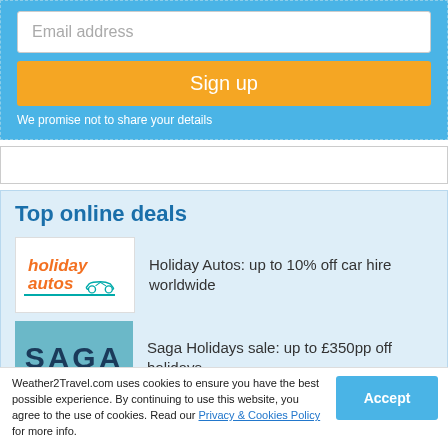[Figure (screenshot): Email address input field with placeholder text 'Email address']
[Figure (screenshot): Orange 'Sign up' button]
We promise not to share your details
Top online deals
[Figure (logo): Holiday Autos logo — orange cursive text 'holiday autos' with teal car outline and teal underline]
Holiday Autos: up to 10% off car hire worldwide
[Figure (logo): SAGA logo — large bold dark blue text 'SAGA' on teal/blue background]
Saga Holidays sale: up to £350pp off holidays
Weather2Travel.com uses cookies to ensure you have the best possible experience. By continuing to use this website, you agree to the use of cookies. Read our Privacy & Cookies Policy for more info.